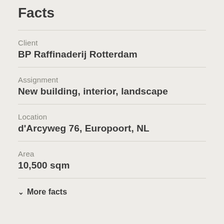Facts
Client
BP Raffinaderij Rotterdam
Assignment
New building, interior, landscape
Location
d'Arcyweg 76, Europoort, NL
Area
10,500 sqm
∨ More facts